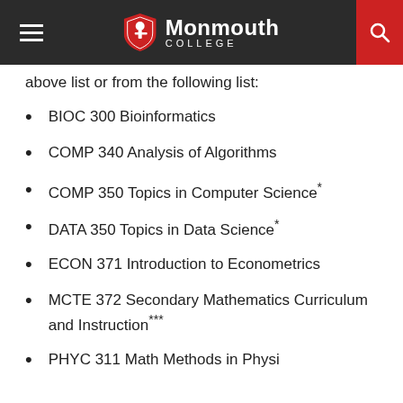Monmouth College
above list or from the following list:
BIOC 300 Bioinformatics
COMP 340 Analysis of Algorithms
COMP 350 Topics in Computer Science*
DATA 350 Topics in Data Science*
ECON 371 Introduction to Econometrics
MCTE 372 Secondary Mathematics Curriculum and Instruction***
PHYC 311 Math Methods in Physics